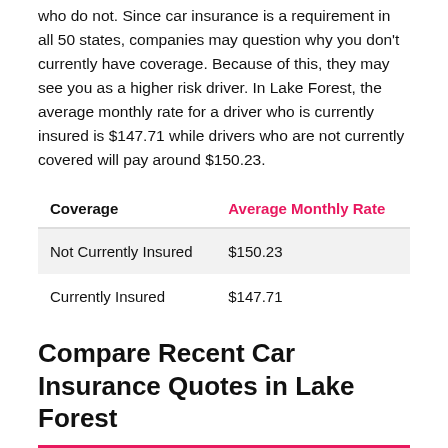who do not. Since car insurance is a requirement in all 50 states, companies may question why you don't currently have coverage. Because of this, they may see you as a higher risk driver. In Lake Forest, the average monthly rate for a driver who is currently insured is $147.71 while drivers who are not currently covered will pay around $150.23.
| Coverage | Average Monthly Rate |
| --- | --- |
| Not Currently Insured | $150.23 |
| Currently Insured | $147.71 |
Compare Recent Car Insurance Quotes in Lake Forest
[Figure (photo): Partial image of a car, showing red, orange, and yellow tones, partially visible at the bottom of the page.]